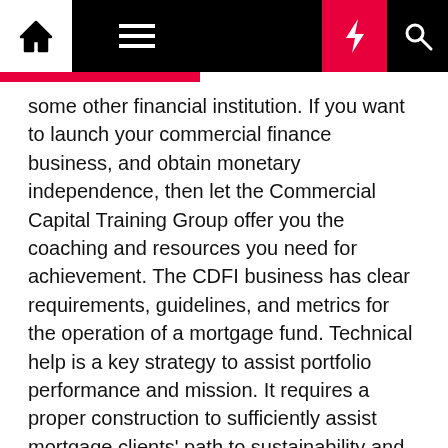Navigation bar with home, menu, moon, bolt, and search icons
some other financial institution. If you want to launch your commercial finance business, and obtain monetary independence, then let the Commercial Capital Training Group offer you the coaching and resources you need for achievement. The CDFI business has clear requirements, guidelines, and metrics for the operation of a mortgage fund. Technical help is a key strategy to assist portfolio performance and mission. It requires a proper construction to sufficiently assist mortgage clients' path to sustainability and progress.
Discover The Proper Financing For You
Capital budgeting, capital construction, dividend policy, mergers and acquisitions, and a few aspects of international finance. The Finance sector is